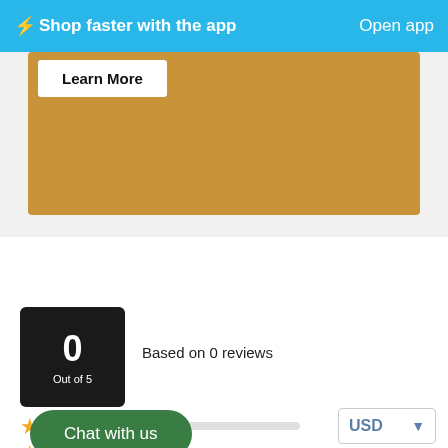⚡ Shop faster with the app   Open app
[Figure (other): Promotional banner with tan/golden background and a white 'Learn More' button]
Based on 0 reviews
0
Out of 5
Chat with us
USD
(0)
(0)